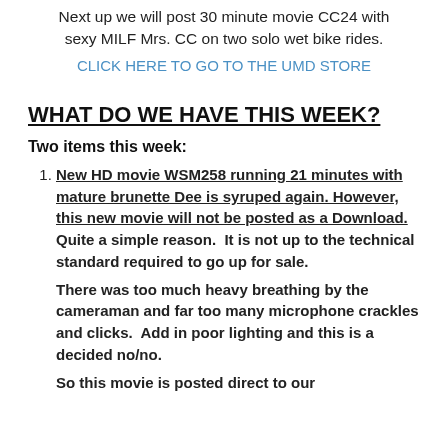Next up we will post 30 minute movie CC24 with sexy MILF Mrs. CC on two solo wet bike rides.
CLICK HERE TO GO TO THE UMD STORE
WHAT DO WE HAVE THIS WEEK?
Two items this week:
New HD movie WSM258 running 21 minutes with mature brunette Dee is syruped again. However, this new movie will not be posted as a Download. Quite a simple reason.  It is not up to the technical standard required to go up for sale. There was too much heavy breathing by the cameraman and far too many microphone crackles and clicks.  Add in poor lighting and this is a decided no/no. So this movie is posted direct to our